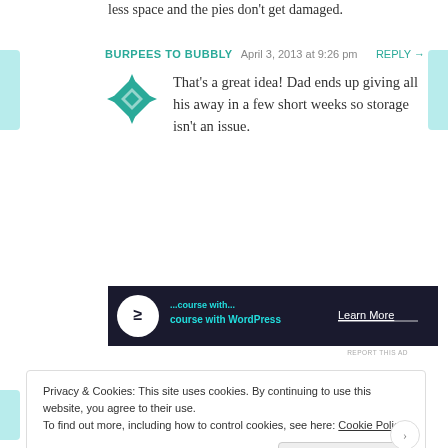less space and the pies don't get damaged.
BURPEES TO BUBBLY  April 3, 2013 at 9:26 pm  REPLY →
That's a great idea! Dad ends up giving all his away in a few short weeks so storage isn't an issue.
[Figure (other): WordPress course advertisement banner with dark background, circular icon, teal text and Learn More link]
REPORT THIS AD
Privacy & Cookies: This site uses cookies. By continuing to use this website, you agree to their use. To find out more, including how to control cookies, see here: Cookie Policy
Close and accept